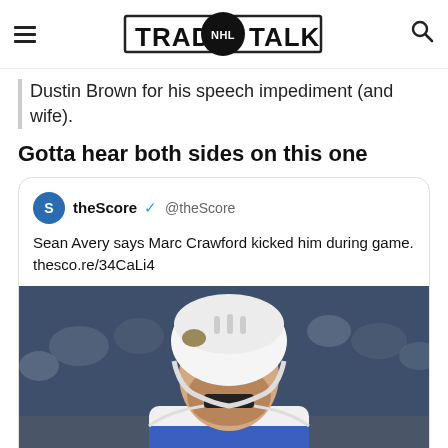TRADE NHL TALK
Dustin Brown for his speech impediment (and wife).
Gotta hear both sides on this one
theScore @theScore
Sean Avery says Marc Crawford kicked him during game. thesco.re/34CaLi4
[Figure (photo): Hockey player wearing white helmet and blue/white jersey with mouth guard, looking upward, crowd in background]